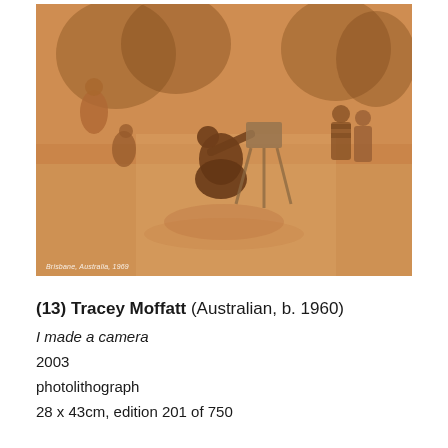[Figure (photo): Sepia-toned photograph showing people outdoors in a dusty setting. In the foreground, a person in a skirt bends over a camera on a tripod. To the left, a woman and a child crouch near a tree. To the right, two children stand watching. Trees and hazy atmosphere fill the background. Text overlay at bottom left reads 'Brisbane, Australia, 1969'.]
(13) Tracey Moffatt (Australian, b. 1960)
I made a camera
2003
photolithograph
28 x 43cm, edition 201 of 750